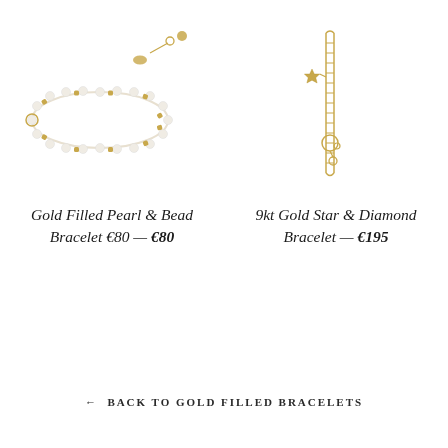[Figure (photo): Gold filled pearl and bead bracelet with gold beads alternating with small white pearls on a white background]
[Figure (photo): 9kt gold star and diamond bracelet, a delicate gold chain with a star charm and clasp, displayed vertically on a white background]
Gold Filled Pearl & Bead Bracelet €80 — €80
9kt Gold Star & Diamond Bracelet — €195
← BACK TO GOLD FILLED BRACELETS